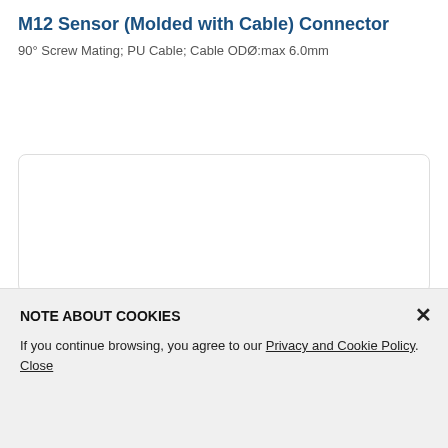M12 Sensor (Molded with Cable) Connector
90° Screw Mating; PU Cable; Cable ODØ:max 6.0mm
I'm interested
[Figure (other): White empty content box area with rounded border]
NOTE ABOUT COOKIES
If you continue browsing, you agree to our Privacy and Cookie Policy. Close